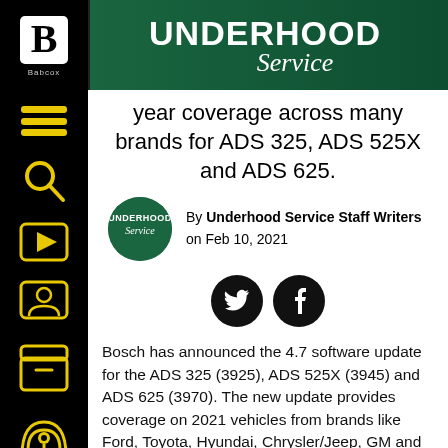Underhood Service
year coverage across many brands for ADS 325, ADS 525X and ADS 625.
By Underhood Service Staff Writers on Feb 10, 2021
[Figure (logo): Underhood Service circular logo avatar]
[Figure (illustration): Twitter and Facebook social share icons (black circles with white bird and f symbols)]
Bosch has announced the 4.7 software update for the ADS 325 (3925), ADS 525X (3945) and ADS 625 (3970). The new update provides coverage on 2021 vehicles from brands like Ford, Toyota, Hyundai, Chrysler/Jeep, GM and more, allowing technicians to support a wider range or domestic